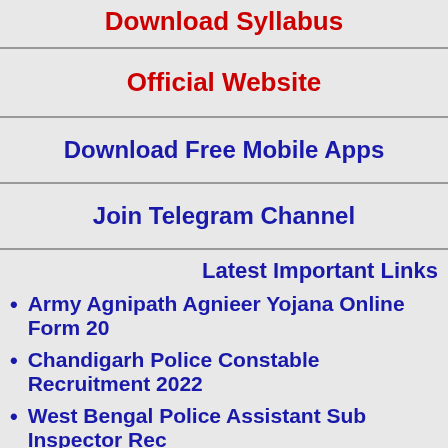Download Syllabus
Official Website
Download Free Mobile Apps
Join Telegram Channel
Latest Important Links
Army Agnipath Agnieer Yojana Online Form 20...
Chandigarh Police Constable Recruitment 2022
West Bengal Police Assistant Sub Inspector Rec...
HPSSC Various Post Recruitment 2022